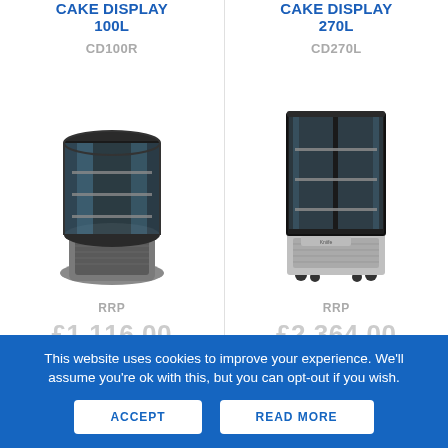ROUND CASE CAKE DISPLAY 100L
CD100R
[Figure (photo): Round glass cake display fridge CD100R, cylindrical shape with black frame and stainless steel base, multiple shelves visible]
RRP
£1,116.00
SQUARE CASE CAKE DISPLAY 270L
CD270L
[Figure (photo): Square glass cake display fridge CD270L, rectangular shape with black frame and silver base with wheels, multiple shelves visible]
RRP
£2,364.00
This website uses cookies to improve your experience. We'll assume you're ok with this, but you can opt-out if you wish.
ACCEPT
READ MORE